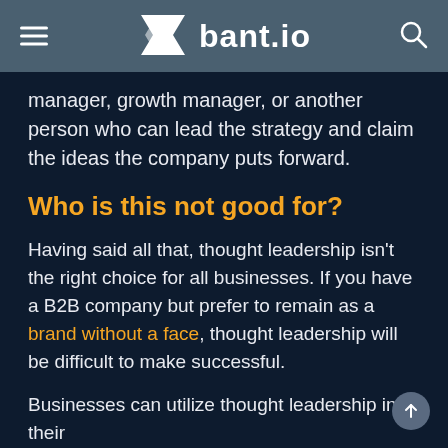bant.io
manager, growth manager, or another person who can lead the strategy and claim the ideas the company puts forward.
Who is this not good for?
Having said all that, thought leadership isn't the right choice for all businesses. If you have a B2B company but prefer to remain as a brand without a face, thought leadership will be difficult to make successful.
Businesses can utilize thought leadership in their